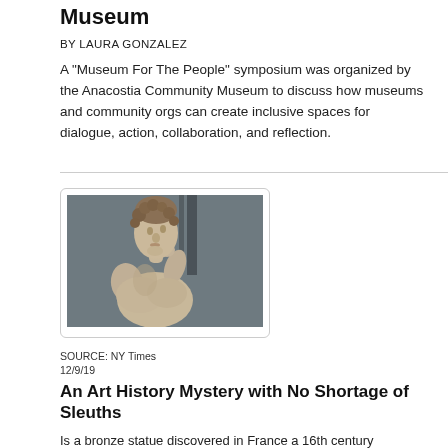Museum
BY LAURA GONZALEZ
A "Museum For The People" symposium was organized by the Anacostia Community Museum to discuss how museums and community orgs can create inclusive spaces for dialogue, action, collaboration, and reflection.
[Figure (photo): A marble or stone sculpture of a classical figure, likely from antiquity, shown from the torso up. The figure has curly hair and is turning slightly, viewed against a dark grey background.]
SOURCE: NY Times
12/9/19
An Art History Mystery with No Shortage of Sleuths
Is a bronze statue discovered in France a 16th century Renaissance masterpiece or a (much less valuable) 17th century copy? Readers shared their theories, opinions and expertise.